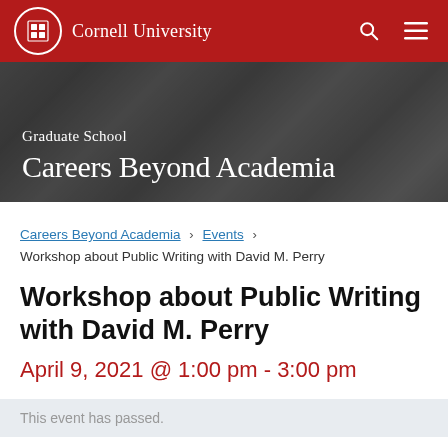Cornell University
[Figure (screenshot): Cornell University Graduate School Careers Beyond Academia hero banner with students in background]
Careers Beyond Academia › Events › Workshop about Public Writing with David M. Perry
Workshop about Public Writing with David M. Perry
April 9, 2021 @ 1:00 pm - 3:00 pm
This event has passed.